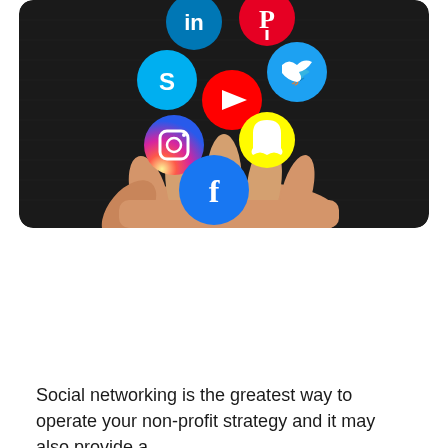[Figure (illustration): A hand holding up various social media icons floating above it: LinkedIn, Pinterest, Skype, Twitter, YouTube, Instagram, Snapchat, and Facebook, on a dark chalkboard background.]
Social networking is the greatest way to operate your non-profit strategy and it may also provide a